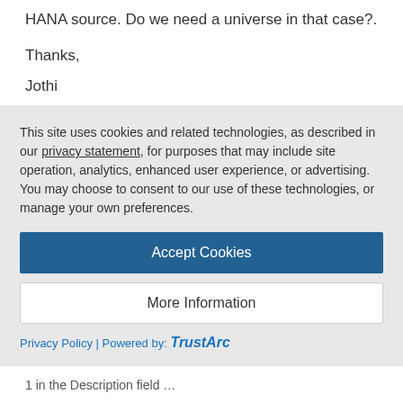HANA source. Do we need a universe in that case?.
Thanks,
Jothi
Like 0  |  Share
Jamie Wiseman | Blog Post Author  [SAP] August 5, 2015 at 6:33 pm
This site uses cookies and related technologies, as described in our privacy statement, for purposes that may include site operation, analytics, enhanced user experience, or advertising. You may choose to consent to our use of these technologies, or manage your own preferences.
Accept Cookies
More Information
Privacy Policy | Powered by: TrustArc